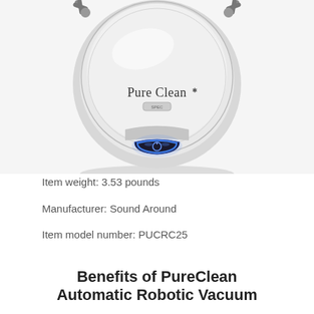[Figure (photo): Top-down view of a round white Pure Clean robotic vacuum cleaner with silver trim, two side brushes at top corners, a power button with blue LED glow at bottom center, and the Pure Clean logo on top surface.]
Item weight: 3.53 pounds
Manufacturer: Sound Around
Item model number: PUCRC25
Benefits of PureClean Automatic Robotic Vacuum